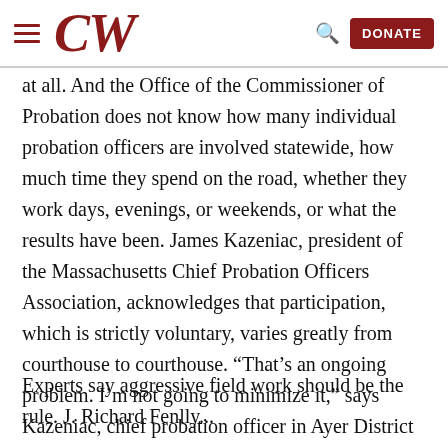CW [CommonWealth magazine header with hamburger menu, CW logo, search icon, and DONATE button]
at all. And the Office of the Commissioner of Probation does not know how many individual probation officers are involved statewide, how much time they spend on the road, whether they work days, evenings, or weekends, or what the results have been. James Kazeniac, president of the Massachusetts Chief Probation Officers Association, acknowledges that participation, which is strictly voluntary, varies greatly from courthouse to courthouse. “That’s an ongoing problem. I’m not going to minimize it,” says Kazeniac, chief probation officer in Ayer District Court.
Experts say aggressive field work should be the rule. J. Richard Fenlly...